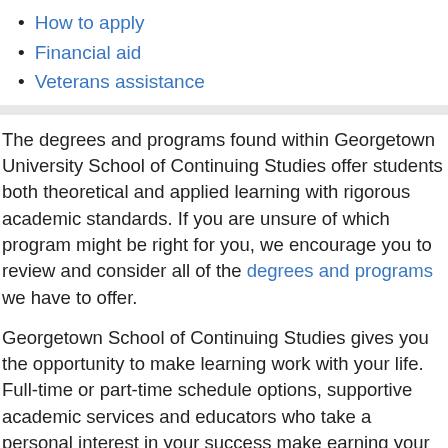How to apply
Financial aid
Veterans assistance
The degrees and programs found within Georgetown University School of Continuing Studies offer students both theoretical and applied learning with rigorous academic standards. If you are unsure of which program might be right for you, we encourage you to review and consider all of the degrees and programs we have to offer.
Georgetown School of Continuing Studies gives you the opportunity to make learning work with your life. Full-time or part-time schedule options, supportive academic services and educators who take a personal interest in your success make earning your degree possible.
We encourage you to introduce yourself to us to get important SCS updates and information about your